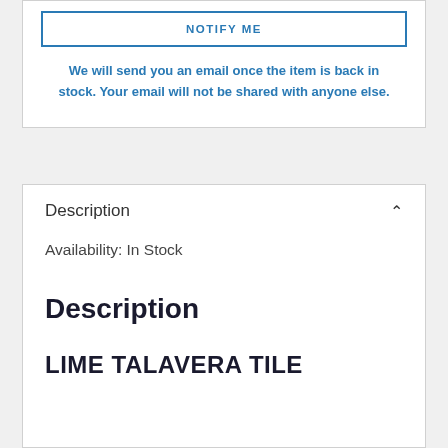NOTIFY ME
We will send you an email once the item is back in stock. Your email will not be shared with anyone else.
Description
Availability: In Stock
Description
LIME TALAVERA TILE